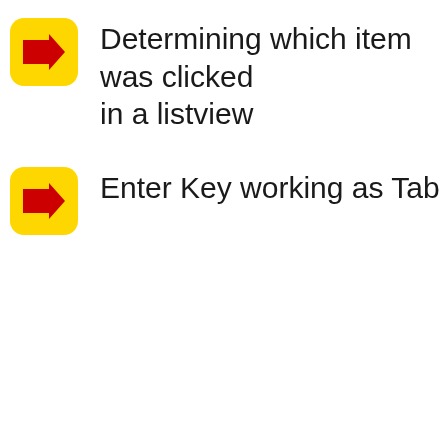Determining which item was clicked in a listview
Enter Key working as Tab